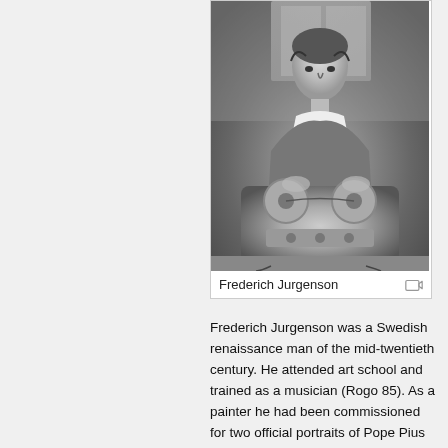[Figure (photo): Black and white photograph of Frederich Jurgenson sitting at a desk with reel-to-reel tape recording equipment, wearing a suit, with headphones, in what appears to be a home or office setting.]
Frederich Jurgenson
Frederich Jurgenson was a Swedish renaissance man of the mid-twentieth century. He attended art school and trained as a musician (Rogo 85). As a painter he had been commissioned for two official portraits of Pope Pius XII (Raymond Bayless Foundation). Jurgenson was also a filmmaker and a psychic. One afternoon Jurgenson set out to document bird sounds in the woods. When he took the tape home and listened to it there were